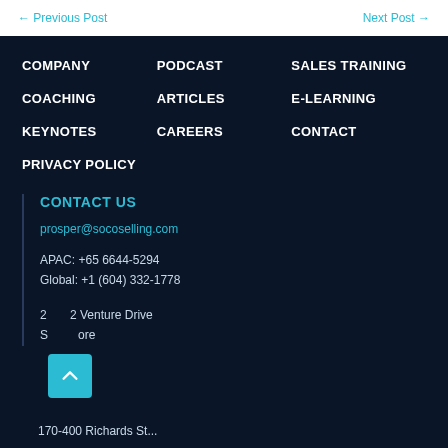← Previous Post   Next Post →
COMPANY
PODCAST
SALES TRAINING
COACHING
ARTICLES
E-LEARNING
KEYNOTES
CAREERS
CONTACT
PRIVACY POLICY
CONTACT US
prosper@socoselling.com
APAC: +65 6644-5294
Global: +1 (604) 332-1778
2[...] Venture Drive
Singapore
170-400 Bickards St...